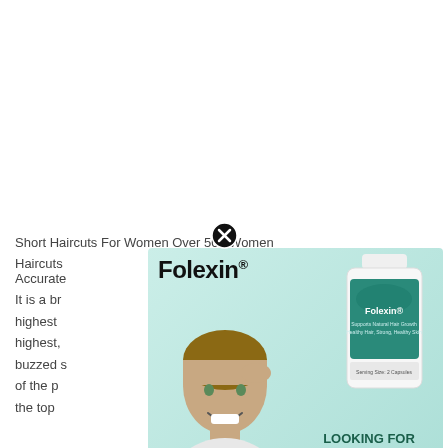Short Haircuts For Women Over 50 | Women Haircuts with
Accurately ... ver 50?
It is a br... he
highest ...
highest, ... are
buzzed s... n prime
of the p... ween
the top ...
[Figure (advertisement): Folexin hair growth supplement advertisement with a smiling man touching his hair, a bottle of Folexin supplement, teal gradient background, bold text 'LOOKING FOR HAIR GROWTH SUPPORT?' and a yellow 'Click Here' button. A close (X) button appears at the top center of the ad.]